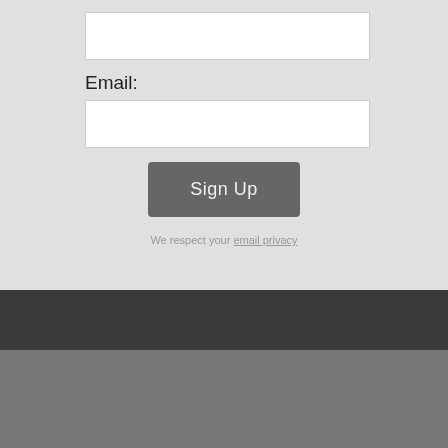Email:
Sign Up
We respect your email privacy
Alert Software   Blog   FAQ   About / Contact   Knowledge Base   Privacy Policy
U.S. Government Required Disclaimer – Commodity